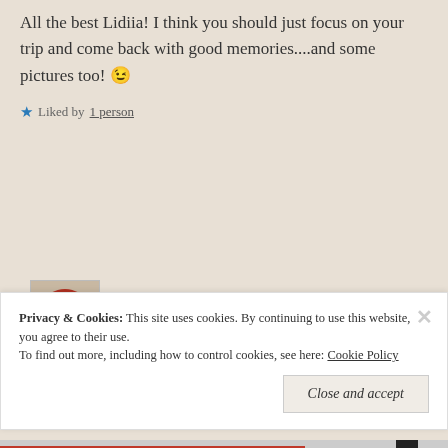All the best Lidiia! I think you should just focus on your trip and come back with good memories....and some pictures too! 😉
★ Liked by 1 person
nice2beme  26/11/2016 at 11:10
Hahah, thousands of pictures =D Thank you!
★ Liked by 1 person
Privacy & Cookies: This site uses cookies. By continuing to use this website, you agree to their use. To find out more, including how to control cookies, see here: Cookie Policy
Close and accept